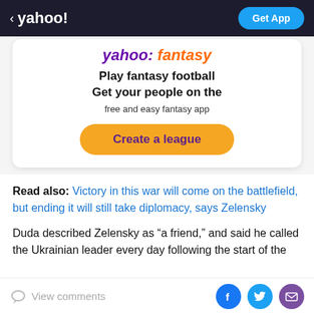< yahoo!   Get App
[Figure (infographic): Yahoo Fantasy advertisement card with 'yahoo: fantasy' logo in purple and orange, headline 'Play fantasy football Get your people on the free and easy fantasy app', and a 'Create a league' button in orange.]
Read also: Victory in this war will come on the battlefield, but ending it will still take diplomacy, says Zelensky
Duda described Zelensky as "a friend," and said he called the Ukrainian leader every day following the start of the
View comments